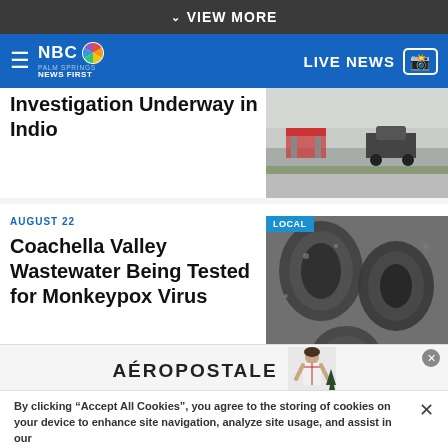VIEW MORE
[Figure (logo): NBC Palm Springs News First logo with peacock icon, hamburger menu, and LIVE NEWS camera button on blue navigation bar]
Investigation Underway in Indio
[Figure (photo): Street scene showing road barrier and parked vehicles in Indio]
AUGUST 22
Coachella Valley Wastewater Being Tested for Monkeypox Virus
[Figure (photo): LOCAL badge label on monkeypox virus electron microscope image showing dark oval virus particles]
By clicking “Accept All Cookies”, you agree to the storing of cookies on your device to enhance site navigation, analyze site usage, and assist in our
[Figure (photo): Aéropostale advertisement banner showing brand name and model in white tank top]